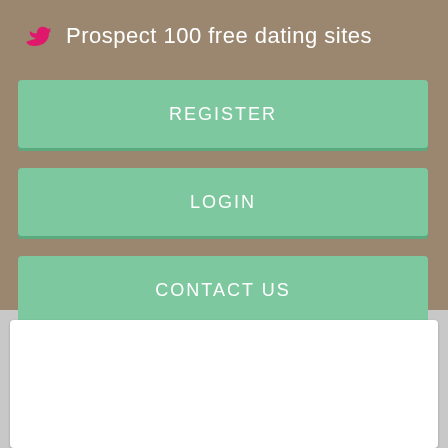Prospect 100 free dating sites
REGISTER
LOGIN
CONTACT US
[Figure (screenshot): Dark gray banner with 'Register NOW' text in white]
Register NOW